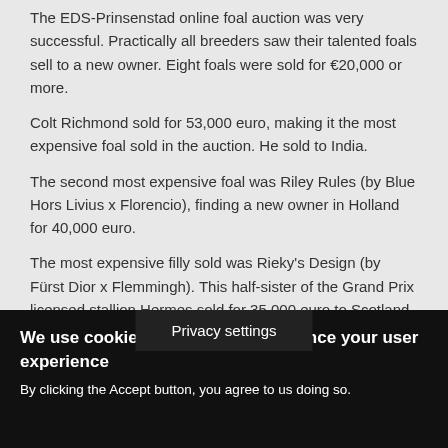The EDS-Prinsenstad online foal auction was very successful. Practically all breeders saw their talented foals sell to a new owner. Eight foals were sold for €20,000 or more.
Colt Richmond sold for 53,000 euro, making it the most expensive foal sold in the auction. He sold to India.
The second most expensive foal was Riley Rules (by Blue Hors Livius x Florencio), finding a new owner in Holland for 40,000 euro.
The most expensive filly sold was Rieky's Design (by Fürst Dior x Flemmingh). This half-sister of the Grand Prix licensed stallion Hermes sold for 35,000 euro to Scotland.
Privacy settings
We use cookies on this site to enhance your user experience
By clicking the Accept button, you agree to us doing so.